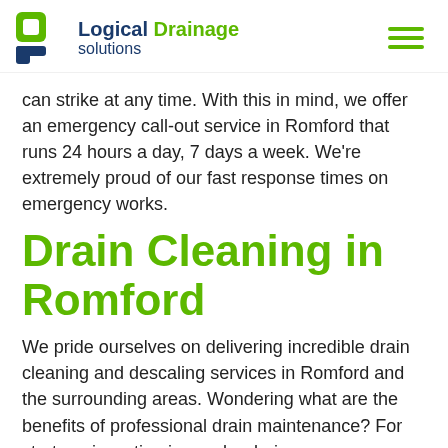Logical Drainage solutions
can strike at any time. With this in mind, we offer an emergency call-out service in Romford that runs 24 hours a day, 7 days a week. We're extremely proud of our fast response times on emergency works.
Drain Cleaning in Romford
We pride ourselves on delivering incredible drain cleaning and descaling services in Romford and the surrounding areas. Wondering what are the benefits of professional drain maintenance? For starters, investing in regular drain